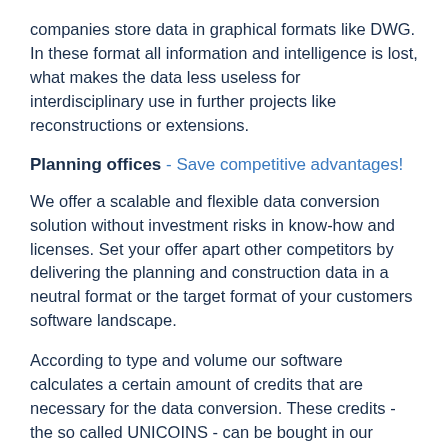companies store data in graphical formats like DWG. In these format all information and intelligence is lost, what makes the data less useless for interdisciplinary use in further projects like reconstructions or extensions.
Planning offices - Save competitive advantages!
We offer a scalable and flexible data conversion solution without investment risks in know-how and licenses. Set your offer apart other competitors by delivering the planning and construction data in a neutral format or the target format of your customers software landscape.
According to type and volume our software calculates a certain amount of credits that are necessary for the data conversion. These credits - the so called UNICOINS - can be bought in our CAD&More Webshop. The transparent pricing of our service allows you to consider the necessary conversions directly in your next bid. Our experts will gladly provide additional details and consult you personally. More